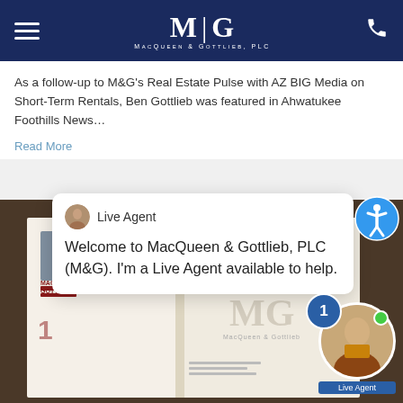MacQueen & Gottlieb, PLC
As a follow-up to M&G's Real Estate Pulse with AZ BIG Media on Short-Term Rentals, Ben Gottlieb was featured in Ahwatukee Foothills News...
Read More
Live Agent
Welcome to MacQueen & Gottlieb, PLC (M&G). I'm a Live Agent available to help.
[Figure (photo): Open directory/book showing MacQueen & Gottlieb listing with MG logo on wood table background. Live agent chat interface with female agent avatar overlaid in bottom right.]